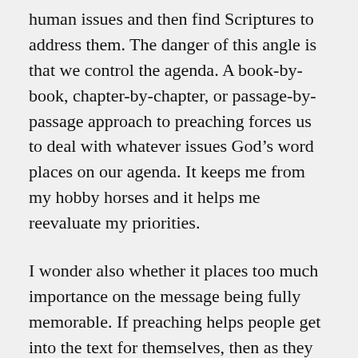human issues and then find Scriptures to address them. The danger of this angle is that we control the agenda. A book-by-book, chapter-by-chapter, or passage-by-passage approach to preaching forces us to deal with whatever issues God’s word places on our agenda. It keeps me from my hobby horses and it helps me reevaluate my priorities.
I wonder also whether it places too much importance on the message being fully memorable. If preaching helps people get into the text for themselves, then as they go back to the passage afterwards (like good Bereans, Acts 17) God’s word should become clearer and more readily applied. Or to put it another way,